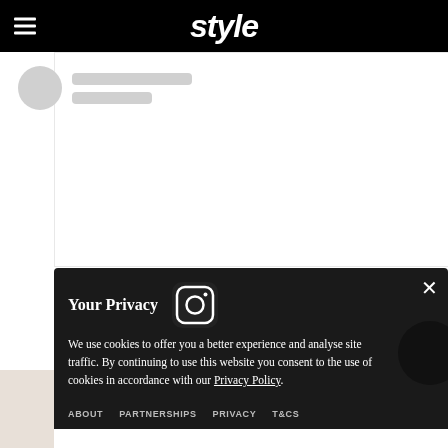style
[Figure (screenshot): Skeleton loading placeholder with circle and two gray bars]
Your Privacy
[Figure (logo): Instagram logo icon]
We use cookies to offer you a better experience and analyse site traffic. By continuing to use this website you consent to the use of cookies in accordance with our Privacy Policy.
ABOUT   PARTNERSHIPS   PRIVACY   T&CS